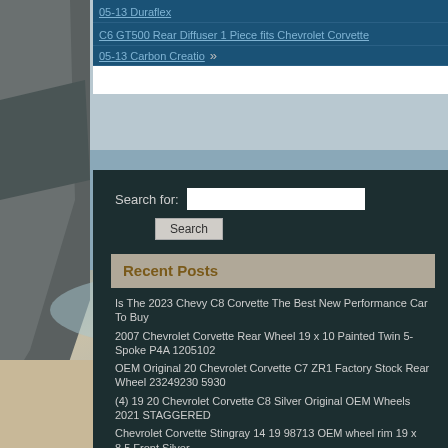05-13 Duraflex
C6 GT500 Rear Diffuser 1 Piece fits Chevrolet Corvette 05-13 Carbon Creatio »
Search for:
Recent Posts
Is The 2023 Chevy C8 Corvette The Best New Performance Car To Buy
2007 Chevrolet Corvette Rear Wheel 19 x 10 Painted Twin 5-Spoke P4A 1205102
OEM Original 20 Chevrolet Corvette C7 ZR1 Factory Stock Rear Wheel 23249230 5930
(4) 19 20 Chevrolet Corvette C8 Silver Original OEM Wheels 2021 STAGGERED
Chevrolet Corvette Stingray 14 19 98713 OEM wheel rim 19 x 8.5 Front Silver